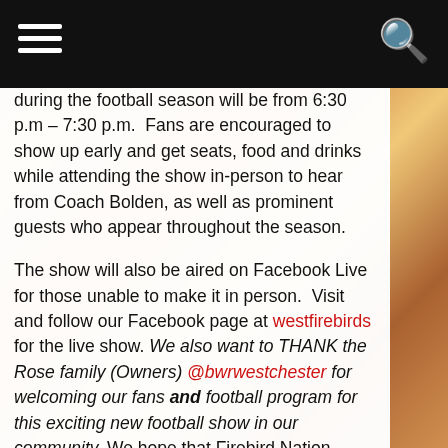≡  🔍
during the football season will be from 6:30 p.m – 7:30 p.m.  Fans are encouraged to show up early and get seats, food and drinks while attending the show in-person to hear from Coach Bolden, as well as prominent guests who appear throughout the season.
The show will also be aired on Facebook Live for those unable to make it in person.  Visit and follow our Facebook page at westfirebirds for the live show. We also want to THANK the Rose family (Owners) @bwrwestchester for welcoming our fans and football program for this exciting new football show in our community. We hope that Firebird Nation comes hungry and excited for great food and entertainment. #WestPride
The 2019 season under Bolden gets underway